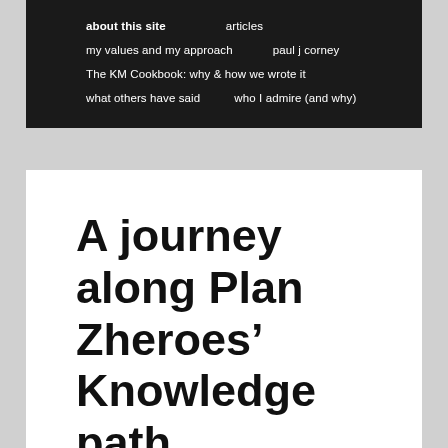about this site   articles   my values and my approach   paul j corney   The KM Cookbook: why & how we wrote it   what others have said   who I admire (and why)
A journey along Plan Zheroes' Knowledge path
In the UK, 13 million people are living in poverty, while 650,000 tonnes of perfectly good food is thrown away by food businesses. This is a well-known ti...